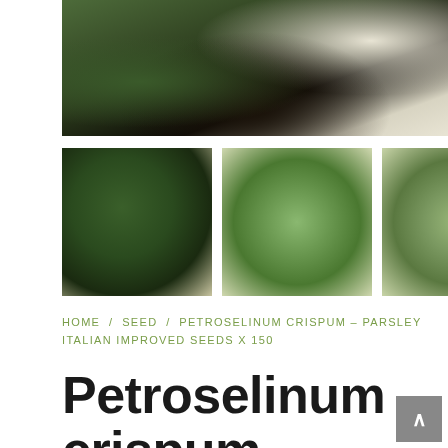[Figure (photo): Main photo of parsley plant leaves with dark soil and a white textured container edge visible at right]
[Figure (photo): Thumbnail 1: Parsley plant in dark soil with white container, close-up of dark green leaves]
[Figure (photo): Thumbnail 2: Close-up of flat-leaf parsley leaves on light background, bright green]
[Figure (photo): Thumbnail 3: Parsley leaves on light green background, medium shot]
HOME / SEED / PETROSELINUM CRISPUM – PARSLEY ITALIAN IMPROVED SEEDS X 150
Petroselinum crispum – Parsley Italian Improved